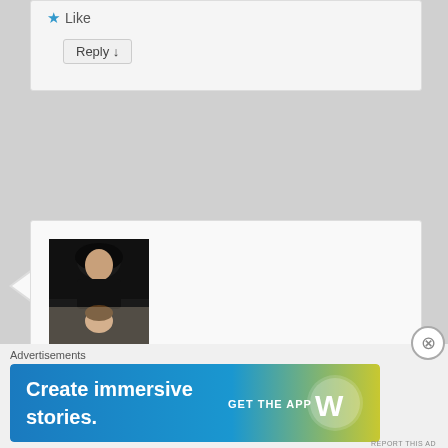Like
Reply ↓
[Figure (photo): Avatar photo of Susan L Daniels – a woman with dark hair leaning over a small child, dark background]
Susan L Daniels on 2012-12-13 at 14:55 said:
Congrats, sir! Well deserved–loved the original post SO MUCH!
Like
Advertisements
[Figure (screenshot): WordPress advertisement banner: 'Create immersive stories. GET THE APP' with WordPress logo, gradient background from blue to yellow-green]